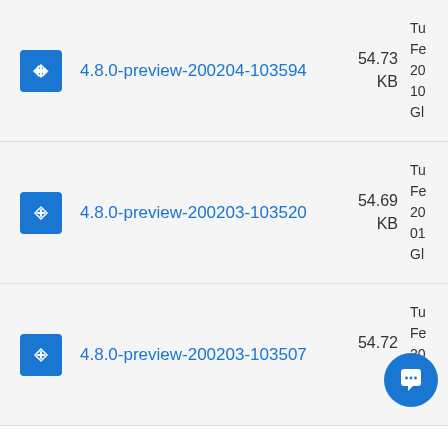4.8.0-preview-200204-103594 54.73 KB Tu Fe 20 10 Gl
4.8.0-preview-200203-103520 54.69 KB Tu Fe 20 01 Gl
4.8.0-preview-200203-103507 54.72 KB Tu Fe 20 02 Gl